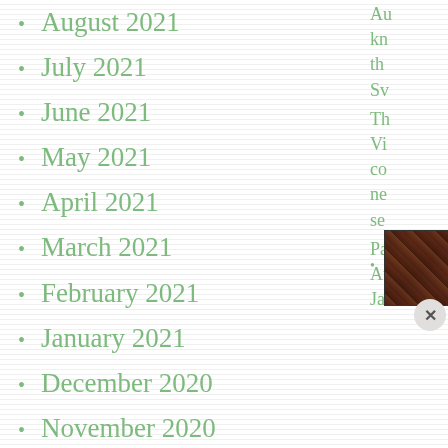August 2021
July 2021
June 2021
May 2021
April 2021
March 2021
February 2021
January 2021
December 2020
November 2020
October 2020
[Figure (photo): Book cover collage thumbnail]
[Figure (photo): Autopsy by Patricia Cornwell book cover thumbnail]
Au
kn
th
Sv
Th
Vi
co
ne
se
Pa
Au
Ja
[Figure (screenshot): DuckDuckGo advertisement banner: Search, browse, and email with more privacy. All in One Free App]
Advertisement(s)